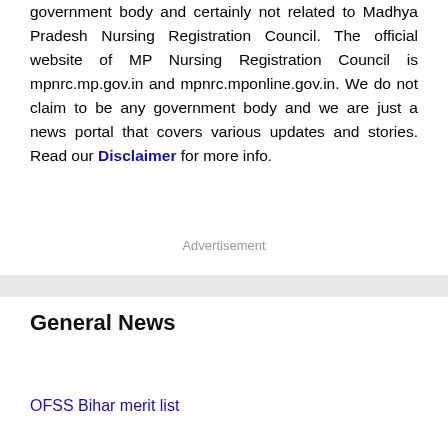government body and certainly not related to Madhya Pradesh Nursing Registration Council. The official website of MP Nursing Registration Council is mpnrc.mp.gov.in and mpnrc.mponline.gov.in. We do not claim to be any government body and we are just a news portal that covers various updates and stories. Read our Disclaimer for more info.
Advertisement
General News
OFSS Bihar merit list